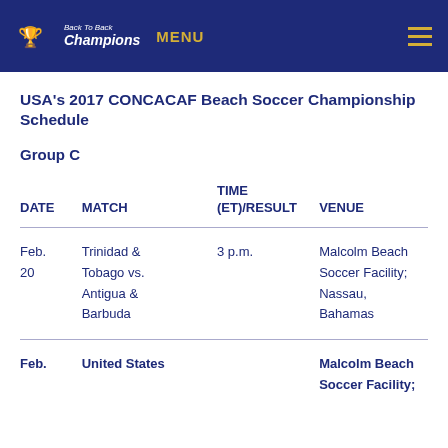Champions | MENU
USA's 2017 CONCACAF Beach Soccer Championship Schedule
Group C
| DATE | MATCH | TIME (ET)/RESULT | VENUE |
| --- | --- | --- | --- |
| Feb. 20 | Trinidad & Tobago vs. Antigua & Barbuda | 3 p.m. | Malcolm Beach Soccer Facility; Nassau, Bahamas |
| Feb. | United States ... |  | Malcolm Beach Soccer Facility; |